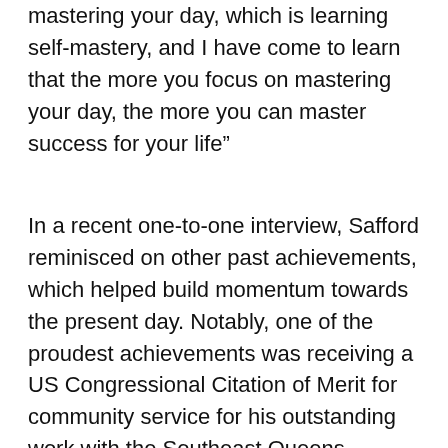mastering your day, which is learning self-mastery, and I have come to learn that the more you focus on mastering your day, the more you can master success for your life”
In a recent one-to-one interview, Safford reminisced on other past achievements, which helped build momentum towards the present day. Notably, one of the proudest achievements was receiving a US Congressional Citation of Merit for community service for his outstanding work with the Southeast Queens business community .